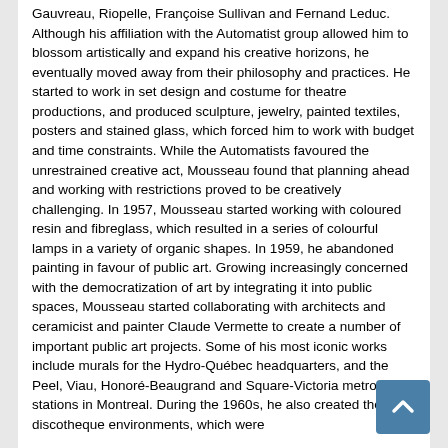Gauvreau, Riopelle, Françoise Sullivan and Fernand Leduc. Although his affiliation with the Automatist group allowed him to blossom artistically and expand his creative horizons, he eventually moved away from their philosophy and practices. He started to work in set design and costume for theatre productions, and produced sculpture, jewelry, painted textiles, posters and stained glass, which forced him to work with budget and time constraints. While the Automatists favoured the unrestrained creative act, Mousseau found that planning ahead and working with restrictions proved to be creatively challenging. In 1957, Mousseau started working with coloured resin and fibreglass, which resulted in a series of colourful lamps in a variety of organic shapes. In 1959, he abandoned painting in favour of public art. Growing increasingly concerned with the democratization of art by integrating it into public spaces, Mousseau started collaborating with architects and ceramicist and painter Claude Vermette to create a number of important public art projects. Some of his most iconic works include murals for the Hydro-Québec headquarters, and the Peel, Viau, Honoré-Beaugrand and Square-Victoria metro stations in Montreal. During the 1960s, he also created thematic discotheque environments, which were